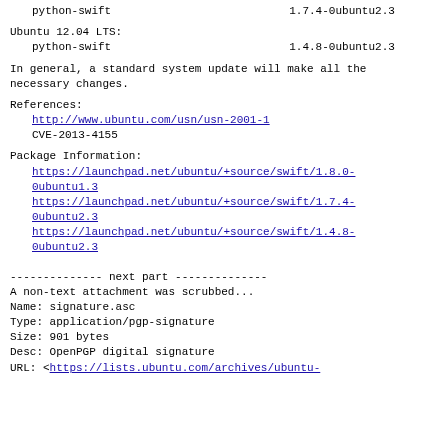python-swift                              1.7.4-0ubuntu2.3
Ubuntu 12.04 LTS:
  python-swift                              1.4.8-0ubuntu2.3
In general, a standard system update will make all the necessary changes.
References:
  http://www.ubuntu.com/usn/usn-2001-1
  CVE-2013-4155
Package Information:
  https://launchpad.net/ubuntu/+source/swift/1.8.0-0ubuntu1.3
  https://launchpad.net/ubuntu/+source/swift/1.7.4-0ubuntu2.3
  https://launchpad.net/ubuntu/+source/swift/1.4.8-0ubuntu2.3
-------------- next part --------------
A non-text attachment was scrubbed...
Name: signature.asc
Type: application/pgp-signature
Size: 901 bytes
Desc: OpenPGP digital signature
URL: <https://lists.ubuntu.com/archives/ubuntu-...